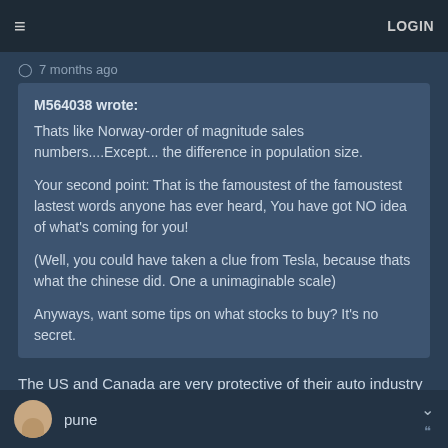≡   LOGIN
⊙ 7 months ago
M564038 wrote:
Thats like Norway-order of magnitude sales numbers....Except... the difference in population size.

Your second point: That is the famoustest of the famoustest lastest words anyone has ever heard, You have got NO idea of what's coming for you!

(Well, you could have taken a clue from Tesla, because thats what the chinese did. One a unimaginable scale)

Anyways, want some tips on what stocks to buy? It's no secret.
The US and Canada are very protective of their auto industry - which is why our automotive options are pale compared to other parts of the world. Our Governments will invest in our own EV manufacturing before allowing Chinese entrants to gain a foothold.
pune